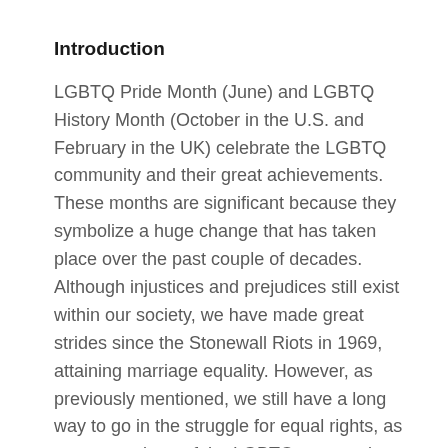Introduction
LGBTQ Pride Month (June) and LGBTQ History Month (October in the U.S. and February in the UK) celebrate the LGBTQ community and their great achievements. These months are significant because they symbolize a huge change that has taken place over the past couple of decades. Although injustices and prejudices still exist within our society, we have made great strides since the Stonewall Riots in 1969, attaining marriage equality. However, as previously mentioned, we still have a long way to go in the struggle for equal rights, as many members of the LGBTQ community still face discrimination. By learning about LGBTQ Pride/History Month, students are more likely to have an understanding and acceptance for all